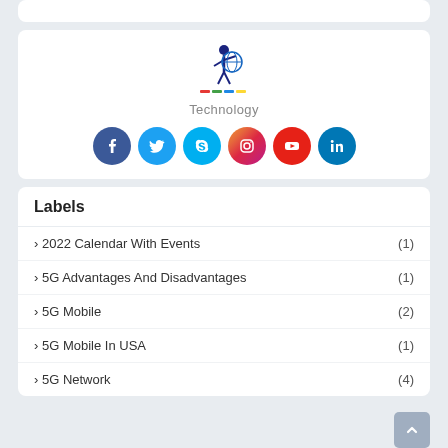[Figure (logo): Website logo with figure and text 'Technology']
Technology
[Figure (infographic): Social media icons: Facebook, Twitter, Skype, Instagram, YouTube, LinkedIn]
Labels
› 2022 Calendar With Events (1)
› 5G Advantages And Disadvantages (1)
› 5G Mobile (2)
› 5G Mobile In USA (1)
› 5G Network (4)